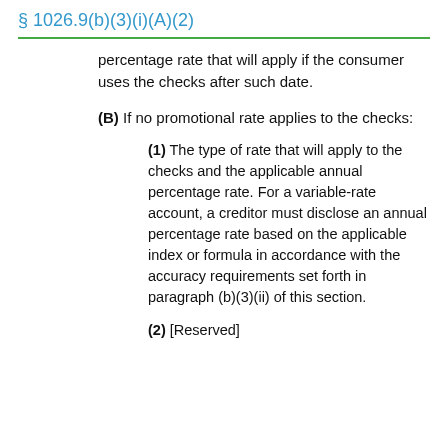§ 1026.9(b)(3)(i)(A)(2)
percentage rate that will apply if the consumer uses the checks after such date.
(B) If no promotional rate applies to the checks:
(1) The type of rate that will apply to the checks and the applicable annual percentage rate. For a variable-rate account, a creditor must disclose an annual percentage rate based on the applicable index or formula in accordance with the accuracy requirements set forth in paragraph (b)(3)(ii) of this section.
(2) [Reserved]
(3)...